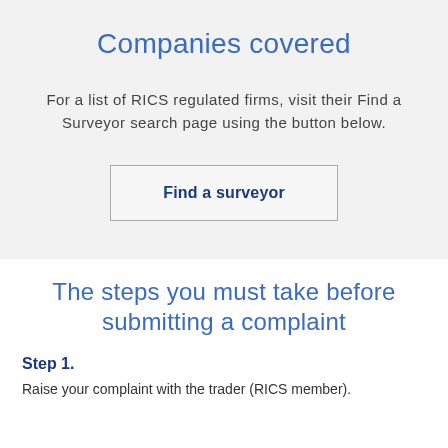Companies covered
For a list of RICS regulated firms, visit their Find a Surveyor search page using the button below.
Find a surveyor
The steps you must take before submitting a complaint
Step 1.
Raise your complaint with the trader (RICS member).